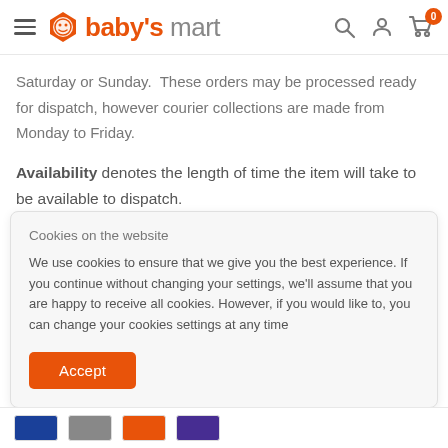baby's mart — navigation header with logo, search, account and cart icons
Saturday or Sunday.  These orders may be processed ready for dispatch, however courier collections are made from Monday to Friday.
Availability denotes the length of time the item will take to be available to dispatch.
Shipping denotes the duration of time that an items takes to
Cookies on the website
We use cookies to ensure that we give you the best experience. If you continue without changing your settings, we'll assume that you are happy to receive all cookies. However, if you would like to, you can change your cookies settings at any time
Payment method icons: Visa, and other card types